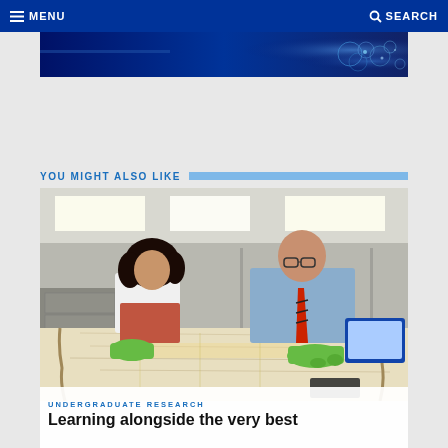MENU   SEARCH
[Figure (photo): Blue abstract banner image with glowing particles on dark navy background]
YOU MIGHT ALSO LIKE
[Figure (photo): Two researchers wearing green gloves examining a large antique map or document spread on a table in an office/archive setting. A woman with curly dark hair and a man with glasses and red striped tie are leaning over the document.]
UNDERGRADUATE RESEARCH
Learning alongside the very best